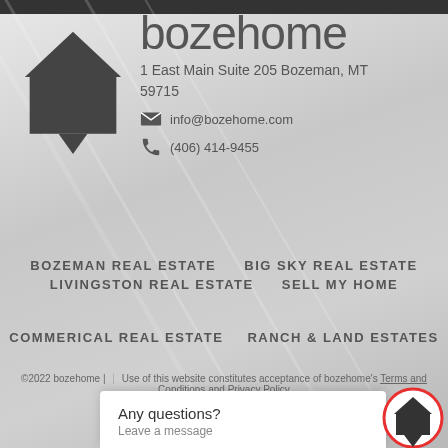[Figure (logo): Bozehome logo with dark house/home icon and 'bozehome' text, address, email and phone]
1 East Main Suite 205 Bozeman, MT 59715
info@bozehome.com
(406) 414-9455
BOZEMAN REAL ESTATE
BIG SKY REAL ESTATE
LIVINGSTON REAL ESTATE
SELL MY HOME
COMMERICAL REAL ESTATE
RANCH & LAND ESTATES
©2022 bozehome | design + dev
Any questions?
Leave a message